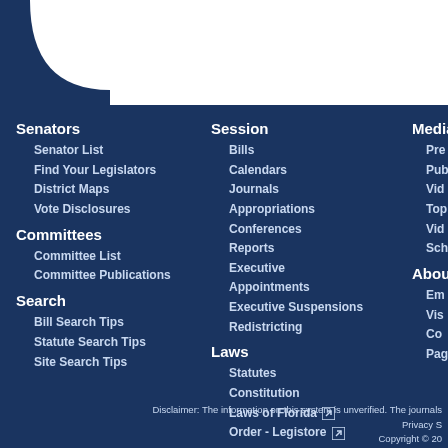Senators
Senator List
Find Your Legislators
District Maps
Vote Disclosures
Committees
Committee List
Committee Publications
Search
Bill Search Tips
Statute Search Tips
Site Search Tips
Session
Bills
Calendars
Journals
Appropriations
Conferences
Reports
Executive Appointments
Executive Suspensions
Redistricting
Laws
Statutes
Constitution
Laws of Florida
Order - Legistore
Media
Disclaimer: The information on this system is unverified. The journals
Privacy S
Copyright © 20